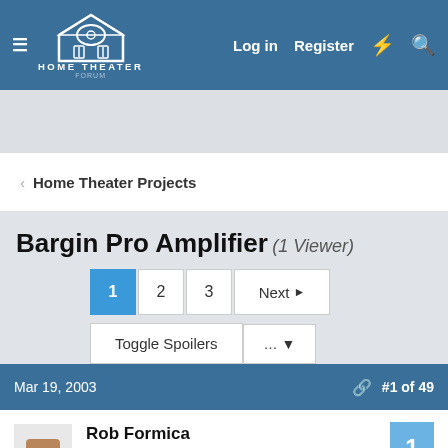Home Theater Forum - Log in | Register
Home Theater Projects
Bargin Pro Amplifier (1 Viewer)
Pages: 1 2 3 Next
Toggle Spoilers ...
Mar 19, 2003  #1 of 49
Rob Formica
Stunt Coordinator